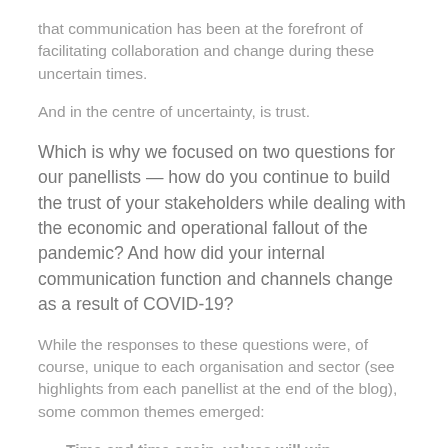that communication has been at the forefront of facilitating collaboration and change during these uncertain times.
And in the centre of uncertainty, is trust.
Which is why we focused on two questions for our panellists — how do you continue to build the trust of your stakeholders while dealing with the economic and operational fallout of the pandemic? And how did your internal communication function and channels change as a result of COVID-19?
While the responses to these questions were, of course, unique to each organisation and sector (see highlights from each panellist at the end of the blog), some common themes emerged:
Time and time again, values will win — reflecting and staying true to your organisational values as the core drivers for your business pave the way for communicating